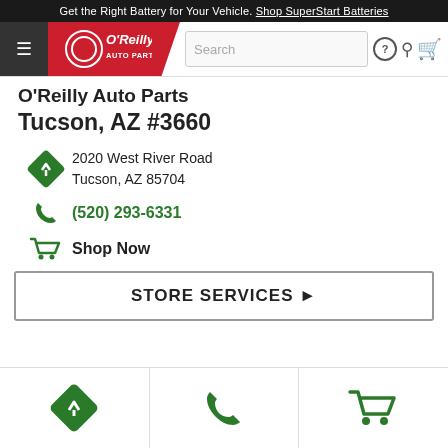Get the Right Battery for Your Vehicle. Shop SuperStart Batteries
[Figure (logo): O'Reilly Auto Parts logo with navigation bar including hamburger menu, search bar, help icon, search icon, and cart icon]
O'Reilly Auto Parts Tucson, AZ #3660
2020 West River Road
Tucson, AZ 85704
(520) 293-6331
Shop Now
STORE SERVICES ▶
[Figure (infographic): Three icons at bottom: direction/map icon, phone icon, shopping cart icon]